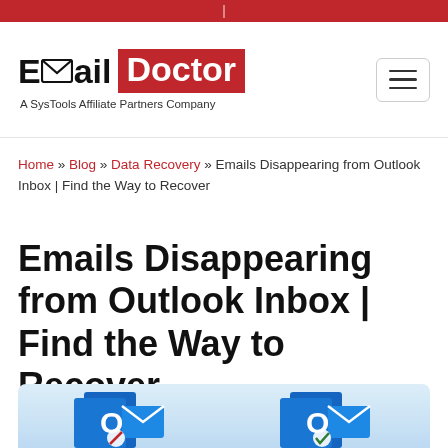Email Doctor — A SysTools Affiliate Partners Company
Home » Blog » Data Recovery » Emails Disappearing from Outlook Inbox | Find the Way to Recover
Emails Disappearing from Outlook Inbox | Find the Way to Recover
[Figure (illustration): Hero image showing two Microsoft Outlook icons with envelope and arrow graphics on a light blue background]